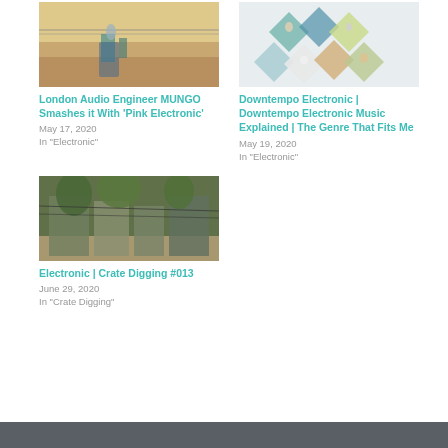[Figure (photo): Warm-toned outdoor photo of a person standing near power lines and teal-colored structures]
London Audio Engineer MUNGO Smashes it With 'Pink Electronic'
May 17, 2020
In "Electronic"
[Figure (photo): Diamond-shaped collage of various people photos on a light background]
Downtempo Electronic | Downtempo Electronic Music Explained | The Genre That Fits Me
May 19, 2020
In "Electronic"
[Figure (photo): Urban street scene with buildings, trees, and power lines in a densely packed city]
Electronic | Crate Digging #013
June 29, 2020
In "Crate Digging"